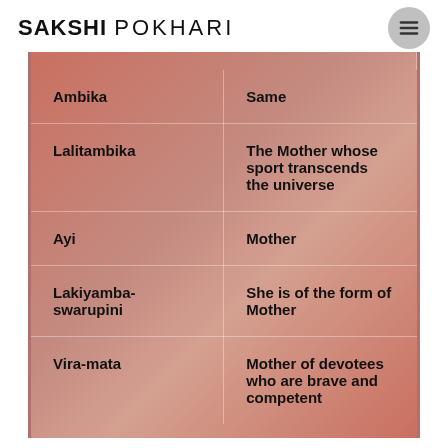SAKSHI POKHARI
| Ambika | Same |
| Lalitambika | The Mother whose sport transcends the universe |
| Ayi | Mother |
| Lakiyamba-swarupini | She is of the form of Mother |
| Vira-mata | Mother of devotees who are brave and competent |